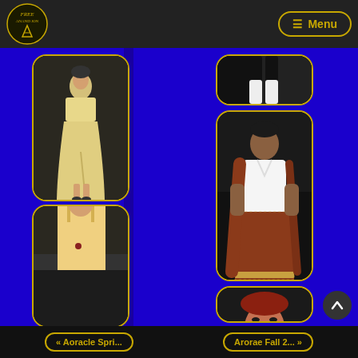[Figure (logo): Anand Jon logo with text FREE and circular design in gold on dark background]
[Figure (photo): Model in yellow floral dress/gown on runway]
[Figure (photo): Person in boots/lower body shot]
[Figure (photo): Woman wearing white top and embroidered rust/brown skirt and shawl]
[Figure (photo): Model in yellow dress, partial view at bottom]
[Figure (photo): Person with red hair, partial view at bottom right]
« Aoracle Spri...   Arorae Fall 2... »